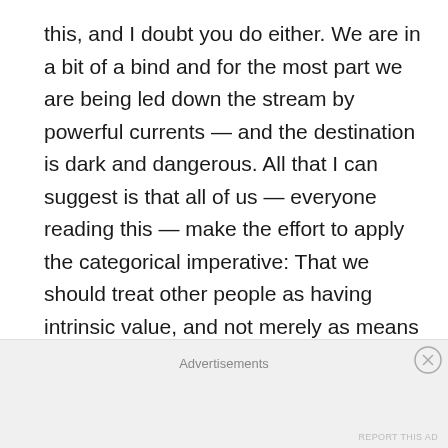this, and I doubt you do either. We are in a bit of a bind and for the most part we are being led down the stream by powerful currents — and the destination is dark and dangerous. All that I can suggest is that all of us — everyone reading this — make the effort to apply the categorical imperative: That we should treat other people as having intrinsic value, and not merely as means to achieve our own ends. Basically, to do to others as we would like them to do to us.
Advertisements